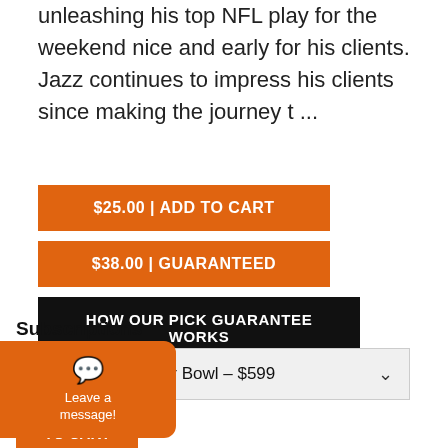unleashing his top NFL play for the weekend nice and early for his clients. Jazz continues to impress his clients since making the journey t ...
$25.00 | ADD TO CART
$38.00 | GUARANTEED
HOW OUR PICK GUARANTEE WORKS
Subscriptions
NFL through Super Bowl – $599
TO CART
Leave a message!